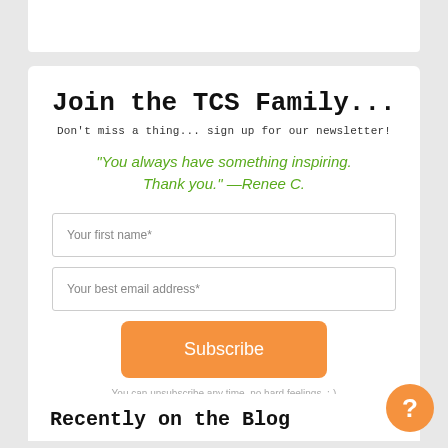Join the TCS Family...
Don't miss a thing... sign up for our newsletter!
"You always have something inspiring. Thank you." —Renee C.
Your first name*
Your best email address*
Subscribe
You can unsubscribe any time, no hard feelings. :-)
Recently on the Blog